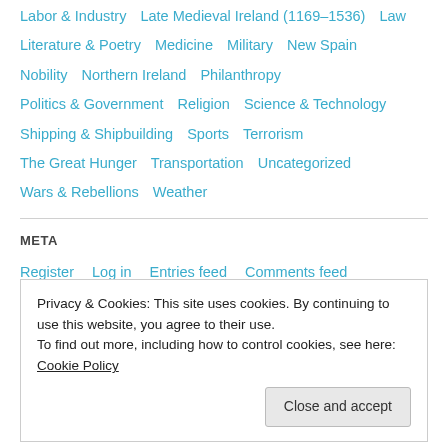Labor & Industry   Late Medieval Ireland (1169-1536)   Law
Literature & Poetry   Medicine   Military   New Spain
Nobility   Northern Ireland   Philanthropy
Politics & Government   Religion   Science & Technology
Shipping & Shipbuilding   Sports   Terrorism
The Great Hunger   Transportation   Uncategorized
Wars & Rebellions   Weather
META
Register   Log in   Entries feed   Comments feed
WordPress.com
Privacy & Cookies: This site uses cookies. By continuing to use this website, you agree to their use.
To find out more, including how to control cookies, see here: Cookie Policy
Close and accept